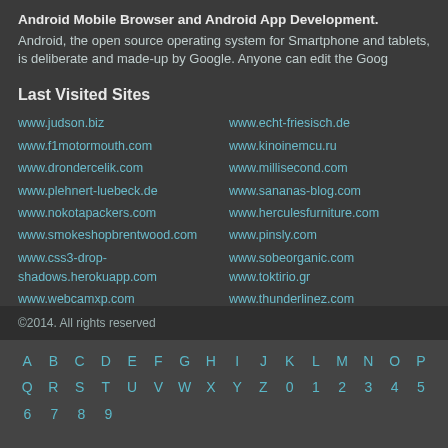Android Mobile Browser and Android App Development.
Android, the open source operating system for Smartphone and tablets, is deliberate and made-up by Google. Anyone can edit the Goog
Last Visited Sites
www.judson.biz
www.echt-friesisch.de
www.f1motormouth.com
www.kinoinemcu.ru
www.drondercelik.com
www.millisecond.com
www.plehnert-luebeck.de
www.sananas-blog.com
www.nokotapackers.com
www.herculesfurniture.com
www.smokeshopbrentwood.com
www.pinsly.com
www.css3-drop-shadows.herokuapp.com
www.sobeorganic.com
www.toktirio.gr
www.webcamxp.com
www.thunderlinez.com
www.fswwrestling.com
www.ccegmont.be
www.eduxam.com
www.maxvipcashclub.com
©2014. All rights reserved
A B C D E F G H I J K L M N O P Q R S T U V W X Y Z 0 1 2 3 4 5 6 7 8 9